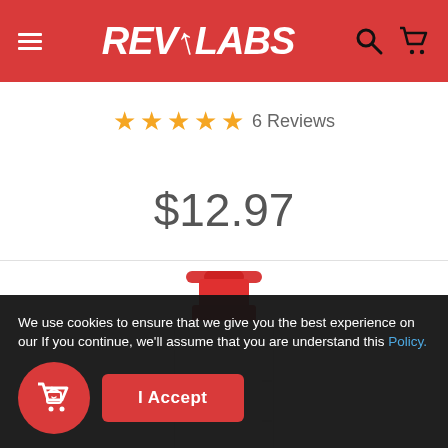REVLABS
★★★★★ 6 Reviews
$12.97
[Figure (photo): REVLABS branded white shaker bottle with red cap/lid, partially visible from the top portion, showing REVLABS logo in black text on white bottle body]
We use cookies to ensure that we give you the best experience on our If you continue, we'll assume that you are understand this Policy.
I Accept